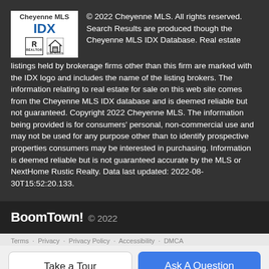[Figure (logo): Cheyenne MLS IDX logo with REALTOR and Equal Housing Opportunity icons]
© 2022 Cheyenne MLS. All rights reserved. Search Results are produced though the Cheyenne MLS IDX Database. Real estate listings held by brokerage firms other than this firm are marked with the IDX logo and includes the name of the listing brokers. The information relating to real estate for sale on this web site comes from the Cheyenne MLS IDX database and is deemed reliable but not guaranteed. Copyright 2022 Cheyenne MLS. The information being provided is for consumers' personal, non-commercial use and may not be used for any purpose other than to identify prospective properties consumers may be interested in purchasing. Information is deemed reliable but is not guaranteed accurate by the MLS or NextHome Rustic Realty. Data last updated: 2022-08-30T15:52:20.133.
BoomTown! © 2022
Terms · Privacy · Privacy Policy · Accessibility · DMCA
Take a Tour
Ask A Question